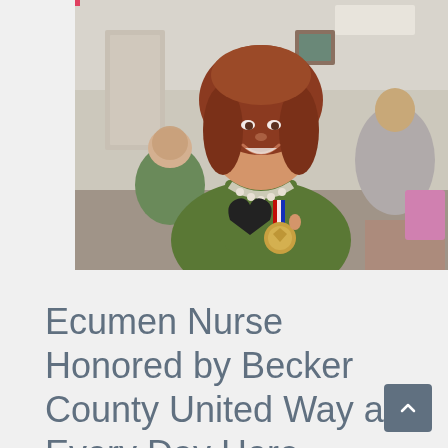[Figure (photo): A smiling woman with curly red hair wearing a green top and beaded necklace, holding an award medal with a red/white/blue ribbon and a black trophy, at an indoor event with other people visible in the background.]
Ecumen Nurse Honored by Becker County United Way as Every Day Hero